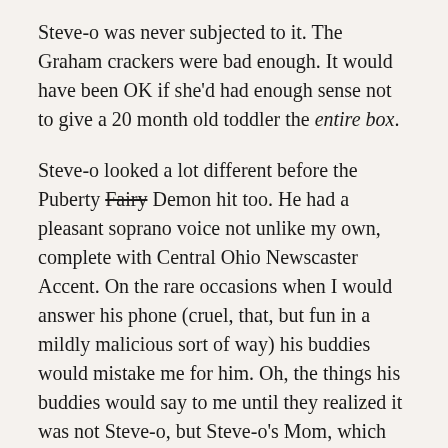Steve-o was never subjected to it. The Graham crackers were bad enough. It would have been OK if she'd had enough sense not to give a 20 month old toddler the entire box.
Steve-o looked a lot different before the Puberty Fairy [strikethrough] Demon hit too. He had a pleasant soprano voice not unlike my own, complete with Central Ohio Newscaster Accent. On the rare occasions when I would answer his phone (cruel, that, but fun in a mildly malicious sort of way) his buddies would mistake me for him. Oh, the things his buddies would say to me until they realized it was not Steve-o, but Steve-o's Mom, which brought about a distinct change in their subject matter and tone. Then he woke up one morning six inches taller, with an unfamiliar and ominous sounding baritone voice, a hair style reminiscent of Robert Plant in 1971, 7/8" earrings, back hair, a libido to rival Casa Nova, and an Attitude from hell. That